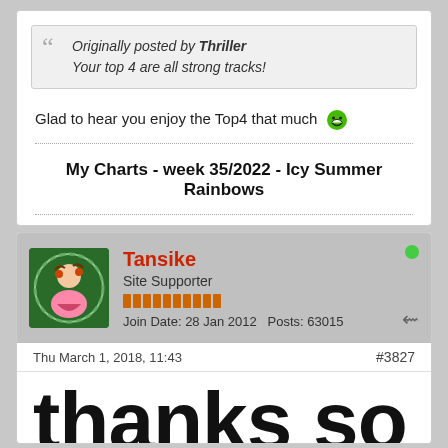Originally posted by Thriller
Your top 4 are all strong tracks!
Glad to hear you enjoy the Top4 that much 😄
My Charts - week 35/2022 - Icy Summer Rainbows
Tansike
Site Supporter
Join Date: 28 Jan 2012  Posts: 63015
Thu March 1, 2018, 11:43
#3827
thanks so much for all